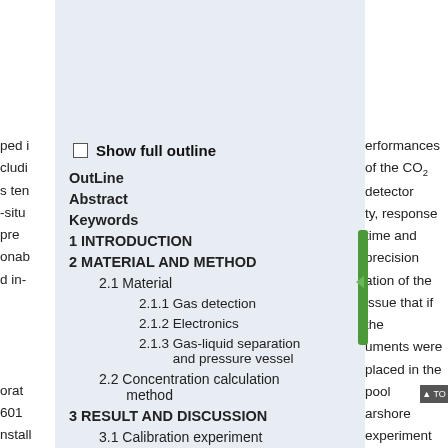ped i cludi s tem -situ pre onab d in-
Show full outline
OutLine
Abstract
Keywords
1 INTRODUCTION
2 MATERIAL AND METHOD
2.1 Material
2.1.1 Gas detection
2.1.2 Electronics
2.1.3 Gas-liquid separation and pressure vessel
2.2 Concentration calculation method
3 RESULT AND DISCUSSION
3.1 Calibration experiment
erformances of the CO2 detector ty, response time and precision ation of the issue that if the uments were placed in the pool arshore experiment was carried erature and tide, so as to verify ll introduce the experiment of dry and certified standard 10-6. As the CO2 sensor is efore the experiments. Each ruments Co. Ltd., AIR-500sccm- ation are 10 min or so, and each f the calibration experiments. The hat the dynamic responses for h 63% of the step change of